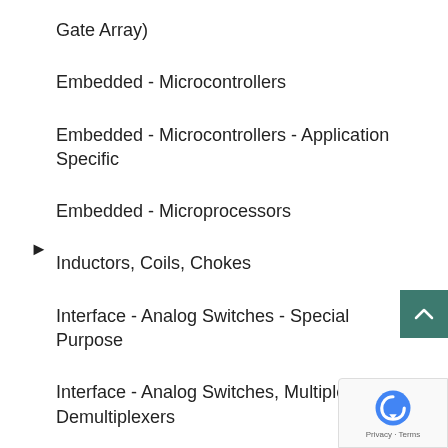Gate Array)
Embedded - Microcontrollers
Embedded - Microcontrollers - Application Specific
Embedded - Microprocessors
▶ Inductors, Coils, Chokes
Interface - Analog Switches - Special Purpose
Interface - Analog Switches, Multiplexers, Demultiplexers
Interface - CODECs
Interface - Controllers